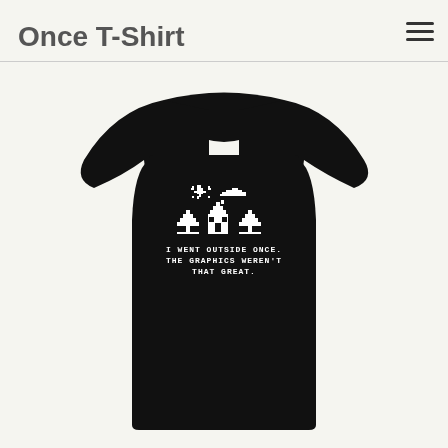Once T-Shirt
[Figure (photo): Black t-shirt with pixelated/8-bit style graphic showing trees, a house, clouds and a sun, with white text reading: I WENT OUTSIDE ONCE. THE GRAPHICS WEREN'T THAT GREAT.]